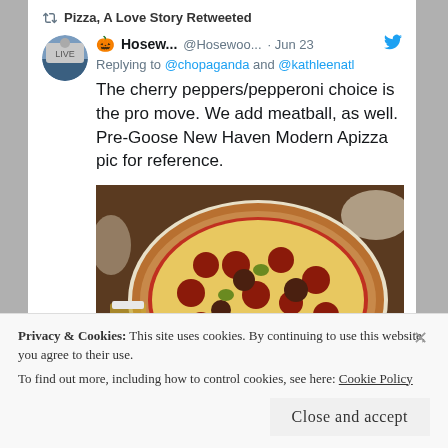Pizza, A Love Story Retweeted
🎃 Hosew... @Hosewoo... · Jun 23
Replying to @chopaganda and @kathleenatl
The cherry peppers/pepperoni choice is the pro move. We add meatball, as well. Pre-Goose New Haven Modern Apizza pic for reference.
[Figure (photo): Photo of a pepperoni and meatball pizza on a round pan, seen from above at a restaurant table with a glass of beer visible on the left side]
Privacy & Cookies: This site uses cookies. By continuing to use this website, you agree to their use. To find out more, including how to control cookies, see here: Cookie Policy
Close and accept